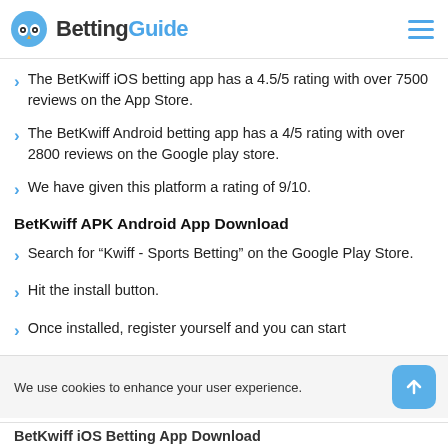BettingGuide
The BetKwiff iOS betting app has a 4.5/5 rating with over 7500 reviews on the App Store.
The BetKwiff Android betting app has a 4/5 rating with over 2800 reviews on the Google play store.
We have given this platform a rating of 9/10.
BetKwiff APK Android App Download
Search for “Kwiff - Sports Betting” on the Google Play Store.
Hit the install button.
Once installed, register yourself and you can start
We use cookies to enhance your user experience.
BetKwiff iOS Betting App Download